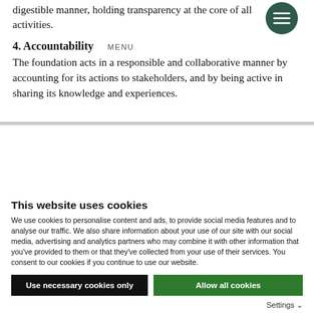digestible manner, holding transparency at the core of all activities.
[Figure (illustration): Dark green circular menu/hamburger icon with three horizontal lines]
4. Accountability
The foundation acts in a responsible and collaborative manner by accounting for its actions to stakeholders, and by being active in sharing its knowledge and experiences.
This website uses cookies
We use cookies to personalise content and ads, to provide social media features and to analyse our traffic. We also share information about your use of our site with our social media, advertising and analytics partners who may combine it with other information that you've provided to them or that they've collected from your use of their services. You consent to our cookies if you continue to use our website.
Use necessary cookies only
Allow all cookies
Settings